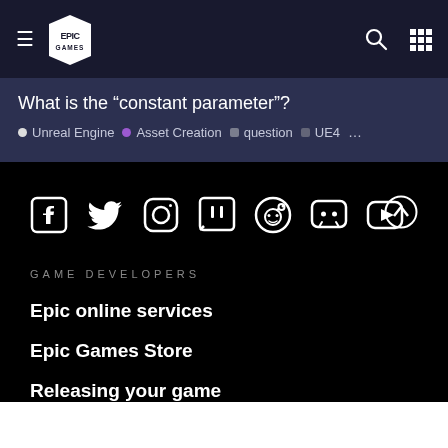Epic Games navigation bar with hamburger menu, Epic Games logo, search icon, and grid icon
What is the “constant parameter”?
Unreal Engine • Asset Creation • question • UE4 …
[Figure (infographic): Social media icons row: Facebook, Twitter, Instagram, Twitch, Reddit, Discord, YouTube, and a scroll-to-top arrow]
GAME DEVELOPERS
Epic online services
Epic Games Store
Releasing your game